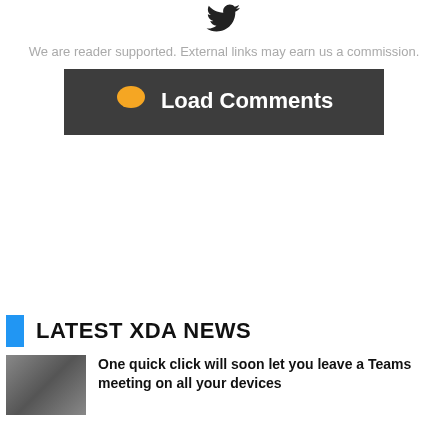[Figure (logo): Twitter bird logo icon in dark color]
We are reader supported. External links may earn us a commission.
[Figure (other): Load Comments button with dark background and yellow speech bubble icon]
LATEST XDA NEWS
One quick click will soon let you leave a Teams meeting on all your devices